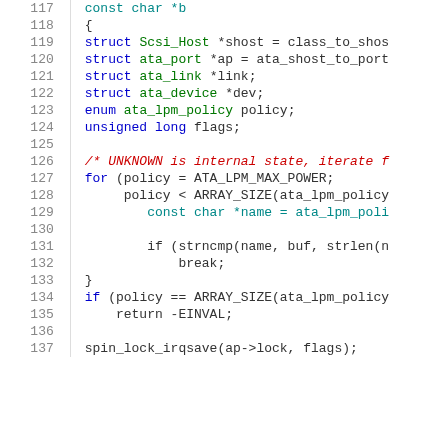Source code listing lines 117-137
117     const char *b
118 {
119         struct Scsi_Host *shost = class_to_shos
120         struct ata_port *ap = ata_shost_to_port
121         struct ata_link *link;
122         struct ata_device *dev;
123         enum ata_lpm_policy policy;
124         unsigned long flags;
125
126         /* UNKNOWN is internal state, iterate f
127         for (policy = ATA_LPM_MAX_POWER;
128               policy < ARRAY_SIZE(ata_lpm_policy
129                   const char *name = ata_lpm_poli
130
131                   if (strncmp(name, buf, strlen(n
132                       break;
133         }
134         if (policy == ARRAY_SIZE(ata_lpm_policy
135             return -EINVAL;
136
137         spin_lock_irqsave(ap->lock, flags);